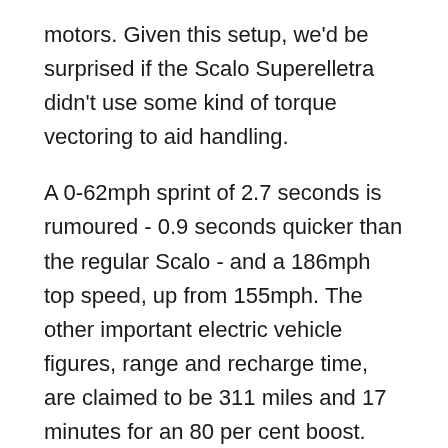motors. Given this setup, we'd be surprised if the Scalo Superelletra didn't use some kind of torque vectoring to aid handling.
A 0-62mph sprint of 2.7 seconds is rumoured - 0.9 seconds quicker than the regular Scalo - and a 186mph top speed, up from 155mph. The other important electric vehicle figures, range and recharge time, are claimed to be 311 miles and 17 minutes for an 80 per cent boost.
The Superelletra's styling also moves the game on from the regular Scalo. Carrozzeria Touring Superleggera's previous projects include the stunning Disco Volante and pretty Mini Superleggera